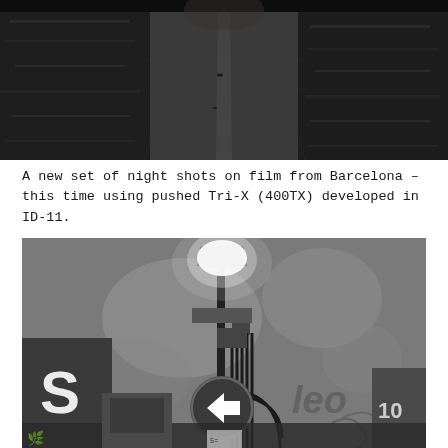[Figure (photo): Black and white night photograph of a long empty cobblestone alleyway or street in Barcelona, shot from above looking down the perspective, with walls on both sides creating a corridor effect.]
A new set of night shots on film from Barcelona – this time using pushed Tri-X (400TX) developed in ID-11.
[Figure (photo): Black and white night photograph of a Barcelona street wall with a lit street lamp, cables running down the wall, graffiti, a directional arrow sign pointing left, and urban signage at the bottom.]